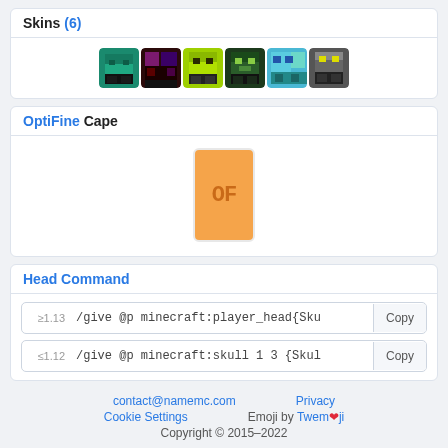Skins (6)
[Figure (illustration): Six Minecraft player skin head thumbnails displayed in a row]
OptiFine Cape
[Figure (illustration): Orange OptiFine cape thumbnail showing 'OF' text in pixel style]
Head Command
≥1.13 /give @p minecraft:player_head{Sku
≤1.12 /give @p minecraft:skull 1 3 {Skul
contact@namemc.com   Privacy   Cookie Settings   Emoji by Twemoji   Copyright © 2015–2022